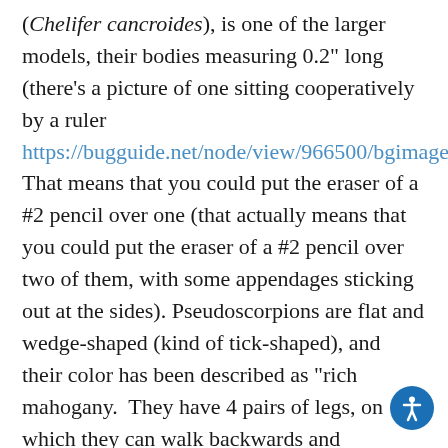(Chelifer cancroides), is one of the larger models, their bodies measuring 0.2" long (there's a picture of one sitting cooperatively by a ruler https://bugguide.net/node/view/966500/bgimage).  That means that you could put the eraser of a #2 pencil over one (that actually means that you could put the eraser of a #2 pencil over two of them, with some appendages sticking out at the sides).  Pseudoscorpions are flat and wedge-shaped (kind of tick-shaped), and their color has been described as "rich mahogany.  They have 4 pairs of legs, on which they can walk backwards and sideways as well as forwards, and a set of "pedipalps"/pincers on long appendages that are located in front of the legs.  The pincers are armed with poison to subdue their prey and are also used for fighting, for defense, and to